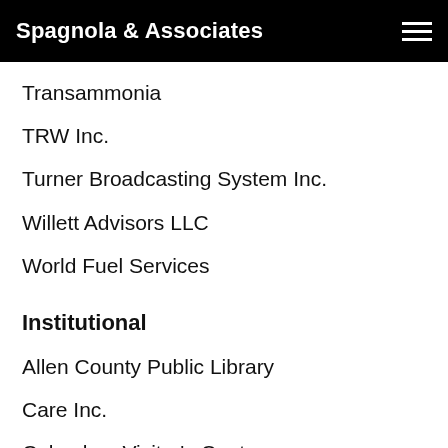Spagnola & Associates
Transammonia
TRW Inc.
Turner Broadcasting System Inc.
Willett Advisors LLC
World Fuel Services
Institutional
Allen County Public Library
Care Inc.
Columbus Visitor's Center
Dormitory Authority of the State of NY
Film at Lincoln Center